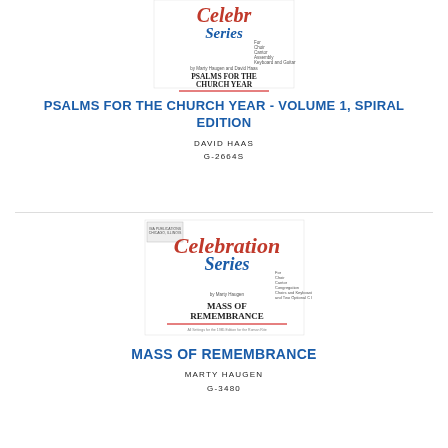[Figure (illustration): Book cover for 'Psalms for the Church Year' from the Celebration Series, showing cursive script logo and title text]
PSALMS FOR THE CHURCH YEAR - VOLUME 1, SPIRAL EDITION
DAVID HAAS
G-2664S
[Figure (illustration): Book cover for 'Mass of Remembrance' from the Celebration Series, showing cursive Celebration Series logo and title text]
MASS OF REMEMBRANCE
MARTY HAUGEN
G-3480